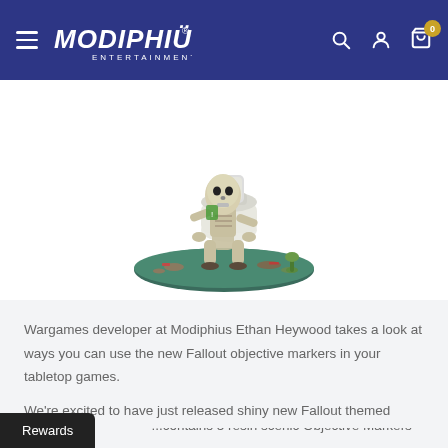Modiphius Entertainment - navigation bar with menu, logo, search, account, cart (0)
[Figure (photo): A painted miniature figurine of a skeleton sitting on a toilet, on a scenic base with debris, set against a white background.]
Wargames developer at Modiphius Ethan Heywood takes a look at ways you can use the new Fallout objective markers in your tabletop games.
We're excited to have just released shiny new Fallout themed objective markers for use in your games of Fallout: Wasteland Warfare. You can pick them up here.
...contains 5 resin scenic Objective Markers for...